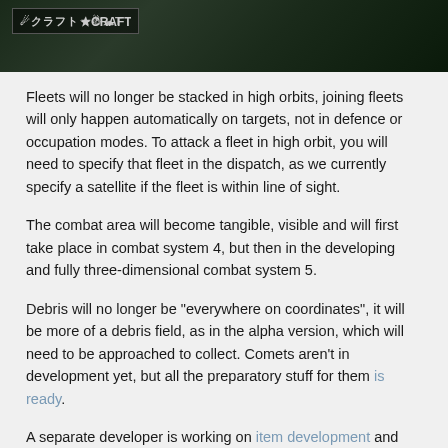[Figure (photo): Dark screenshot from a game (X-Craft or similar space game) with a logo in the top-left corner showing stylized text 'CRAFT' or similar with an X symbol]
Fleets will no longer be stacked in high orbits, joining fleets will only happen automatically on targets, not in defence or occupation modes. To attack a fleet in high orbit, you will need to specify that fleet in the dispatch, as we currently specify a satellite if the fleet is within line of sight.
The combat area will become tangible, visible and will first take place in combat system 4, but then in the developing and fully three-dimensional combat system 5.
Debris will no longer be "everywhere on coordinates", it will be more of a debris field, as in the alpha version, which will need to be approached to collect. Comets aren't in development yet, but all the preparatory stuff for them is ready.
A separate developer is working on item development and crafting.
There is a question of cancelling basic visibility in order to strengthen the exploration element of the game. Perhaps there